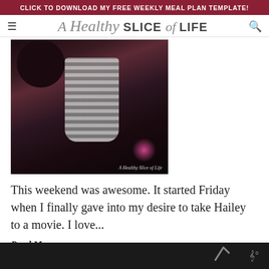CLICK TO DOWNLOAD MY FREE WEEKLY MEAL PLAN TEMPLATE!
A Healthy SLICE of LIFE
[Figure (photo): Dark photo of a child wearing a striped shirt, with pink/magenta lighting in the background. Watermark reads 'A Healthy Slice of Life'.]
This weekend was awesome. It started Friday when I finally gave into my desire to take Hailey to a movie. I love...
Read More
Filed Under: Life Recaps, Personal